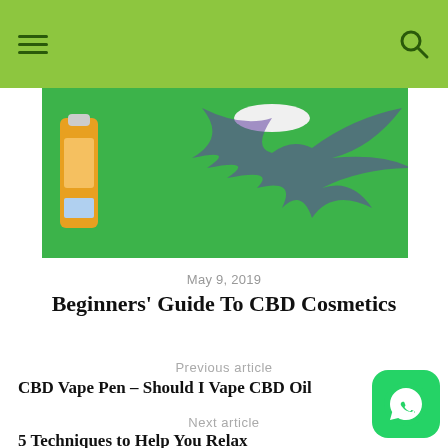[Figure (photo): CBD cosmetics product photo on green background with cannabis leaf illustration]
May 9, 2019
Beginners' Guide To CBD Cosmetics
Previous article
CBD Vape Pen – Should I Vape CBD Oil
Next article
5 Techniques to Help You Relax
[Figure (logo): WhatsApp icon button]
Leave a comment